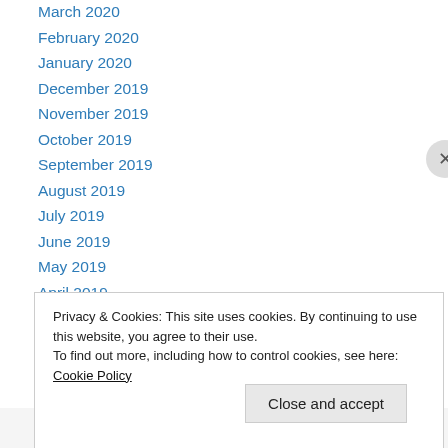March 2020
February 2020
January 2020
December 2019
November 2019
October 2019
September 2019
August 2019
July 2019
June 2019
May 2019
April 2019
March 2019
Privacy & Cookies: This site uses cookies. By continuing to use this website, you agree to their use. To find out more, including how to control cookies, see here: Cookie Policy
Close and accept